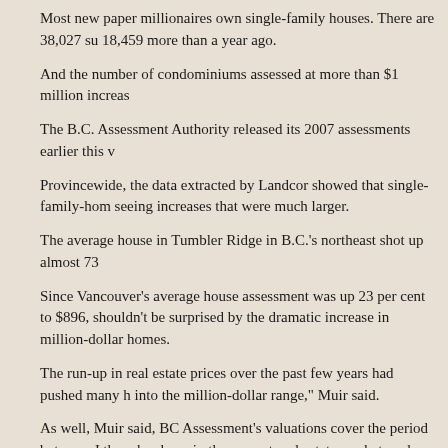Most new paper millionaires own single-family houses. There are 38,027 su... 18,459 more than a year ago.
And the number of condominiums assessed at more than $1 million increas...
The B.C. Assessment Authority released its 2007 assessments earlier this w...
Provincewide, the data extracted by Landcor showed that single-family-hom... seeing increases that were much larger.
The average house in Tumbler Ridge in B.C.'s northeast shot up almost 73...
Since Vancouver's average house assessment was up 23 per cent to $896,... shouldn't be surprised by the dramatic increase in million-dollar homes.
The run-up in real estate prices over the past few years had pushed many h... into the million-dollar range," Muir said.
As well, Muir said, BC Assessment's valuations cover the period between J... there has been in the current real estate market cycle.
Muir added that assessment increases are only "paper profits."
"It's the equity in your home. Today it may be high, [but] the market may cha...
However, Muir added that home-equity gains do help fuel the economy in s... wealth.
That notion is called the wealth effect, Muir said: Typically, people are likely...
Muir added that there is no reason for that wealth effect to drop off. Though... haven't stopped.
And Muir believes the economy is still performing well enough with enough...